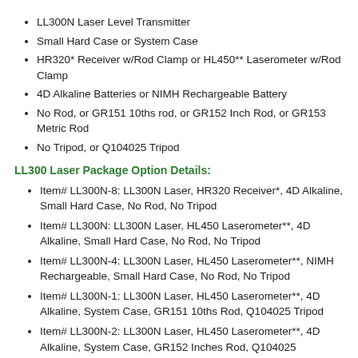LL300N Laser Level Transmitter
Small Hard Case or System Case
HR320* Receiver w/Rod Clamp or HL450** Laserometer w/Rod Clamp
4D Alkaline Batteries or NIMH Rechargeable Battery
No Rod, or GR151 10ths rod, or GR152 Inch Rod, or GR153 Metric Rod
No Tripod, or Q104025 Tripod
LL300 Laser Package Option Details:
Item# LL300N-8: LL300N Laser, HR320 Receiver*, 4D Alkaline, Small Hard Case, No Rod, No Tripod
Item# LL300N: LL300N Laser, HL450 Laserometer**, 4D Alkaline, Small Hard Case, No Rod, No Tripod
Item# LL300N-4: LL300N Laser, HL450 Laserometer**, NIMH Rechargeable, Small Hard Case, No Rod, No Tripod
Item# LL300N-1: LL300N Laser, HL450 Laserometer**, 4D Alkaline, System Case, GR151 10ths Rod, Q104025 Tripod
Item# LL300N-2: LL300N Laser, HL450 Laserometer**, 4D Alkaline, System Case, GR152 Inches Rod, Q104025